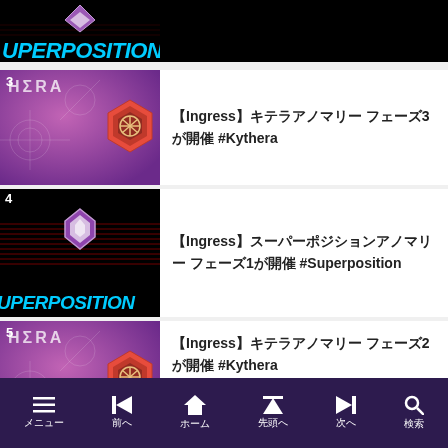[Figure (screenshot): Cropped top of Superposition thumbnail showing cyan italic text 'UPERPOSITION' on black background]
【Ingress】キテラアノマリー フェーズ3が開催 #Kythera
【Ingress】スーパーポジションアノマリー フェーズ1が開催 #Superposition
【Ingress】キテラアノマリー フェーズ2が開催 #Kythera
メニュー　前へ　ホーム　先頭へ　次へ　検索